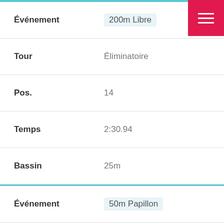| Field | Value |
| --- | --- |
| Événement | 200m Libre |
| Tour | Éliminatoire |
| Pos. | 14 |
| Temps | 2:30.94 |
| Bassin | 25m |
| Événement | 50m Papillon |
| Tour | Finale |
| Pos. | 10 |
| Temps | 32.30 |